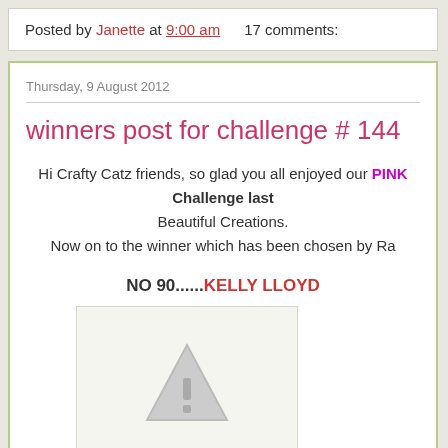Posted by Janette at 9:00 am   17 comments:
Thursday, 9 August 2012
winners post for challenge # 144
Hi Crafty Catz friends, so glad you all enjoyed our PINK Challenge last Beautiful Creations. Now on to the winner which has been chosen by Ra
NO 90......KELLY LLOYD
[Figure (photo): Broken image placeholder with gray triangle/warning icon]